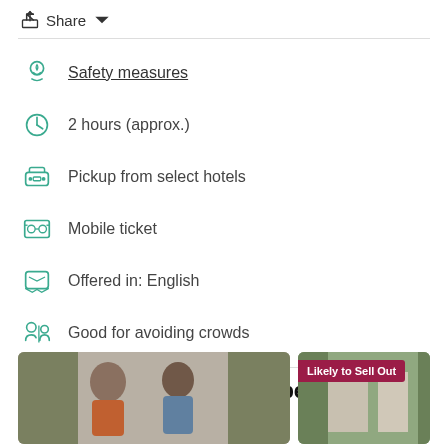Share
Safety measures
2 hours (approx.)
Pickup from select hotels
Mobile ticket
Offered in: English
Good for avoiding crowds
Explore our promoted experiences
[Figure (photo): Two people wearing traditional attire and masks outdoors]
[Figure (photo): Outdoor scene with buildings and trees, badge reading Likely to Sell Out]